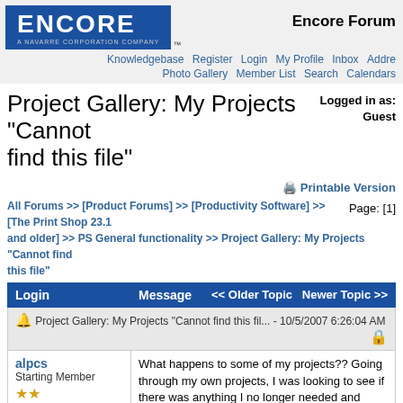[Figure (logo): Encore logo - blue rectangle with white bold text ENCORE, subtitle A NAVARRE CORPORATION COMPANY]
Encore Forums
Knowledgebase Register Login My Profile Inbox Addre... Photo Gallery Member List Search Calendars
Project Gallery: My Projects "Cannot find this file"
Logged in as: Guest
Printable Version
All Forums >> [Product Forums] >> [Productivity Software] >> [The Print Shop 23.1 and older] >> PS General functionality >> Project Gallery: My Projects "Cannot find this file"
Page: [1]
| Login | Message   << Older Topic  Newer Topic >> |
| --- | --- |
| 🔔 Project Gallery: My Projects "Cannot find this fil... - 10/5/2007 6:26:04 AM | 🔒 |
| alpcs
Starting Member
⭐⭐

Posts: 2
Joined: 6/13/2007
Status: offline | What happens to some of my projects?? Going through my own projects, I was looking to see if there was anything I no longer needed and could delete, I found that many of them were no longer available to me. Some were and some were not. What happens is I get a "Cannot find this file. Verify if the correct path and filename were given". |